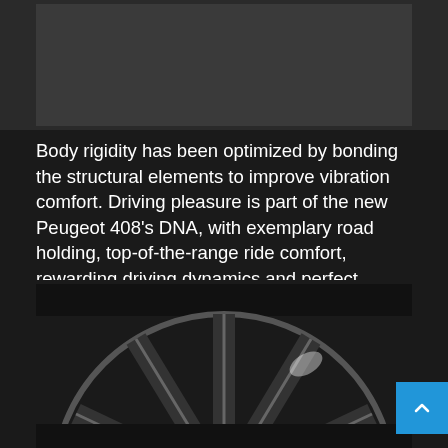[Figure (photo): Top portion of a car image, dark/grey background, partially visible]
Body rigidity has been optimized by bonding the structural elements to improve vibration comfort. Driving pleasure is part of the new Peugeot 408's DNA, with exemplary road holding, top-of-the-range ride comfort, rewarding driving dynamics and perfect handling in town, made possible by a compact turning radius between curbs of 11.18m (36.6 feet).
[Figure (photo): Close-up photo of a Peugeot 408 alloy wheel showing the Peugeot lion badge/hub cap and detailed spoke design, dark tones]